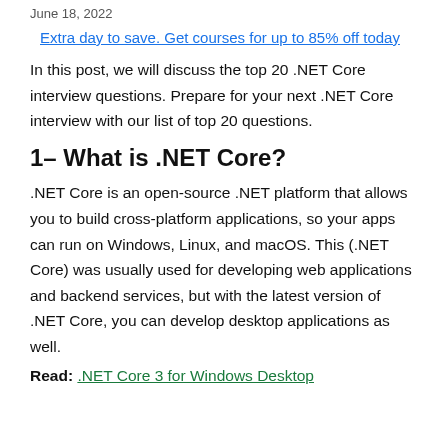June 18, 2022
Extra day to save. Get courses for up to 85% off today
In this post, we will discuss the top 20 .NET Core interview questions. Prepare for your next .NET Core interview with our list of top 20 questions.
1– What is .NET Core?
.NET Core is an open-source .NET platform that allows you to build cross-platform applications, so your apps can run on Windows, Linux, and macOS. This (.NET Core) was usually used for developing web applications and backend services, but with the latest version of .NET Core, you can develop desktop applications as well.
Read: .NET Core 3 for Windows Desktop